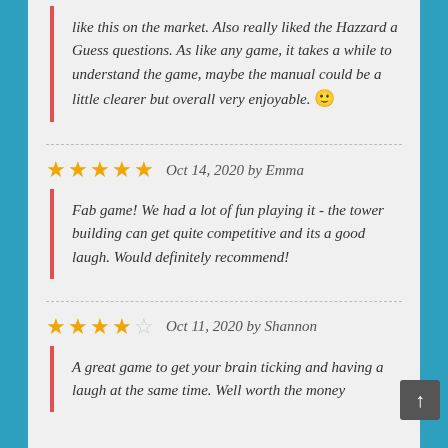like this on the market. Also really liked the Hazzard a Guess questions. As like any game, it takes a while to understand the game, maybe the manual could be a little clearer but overall very enjoyable. 🙂
★★★★★  Oct 14, 2020 by Emma
Fab game! We had a lot of fun playing it - the tower building can get quite competitive and its a good laugh. Would definitely recommend!
★★★★☆  Oct 11, 2020 by Shannon
A great game to get your brain ticking and having a laugh at the same time. Well worth the money